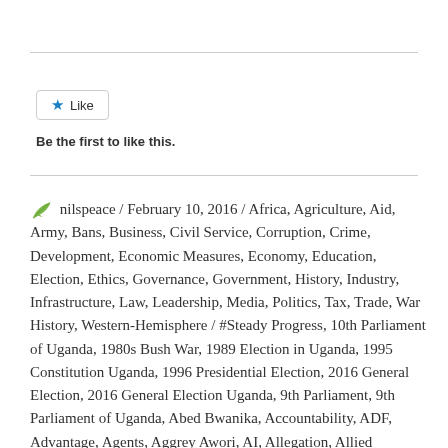[Figure (other): Horizontal rule divider line at top of page]
[Figure (other): Like button with blue star icon and text 'Like']
Be the first to like this.
[Figure (other): Horizontal rule divider line]
nilspeace / February 10, 2016 / Africa, Agriculture, Aid, Army, Bans, Business, Civil Service, Corruption, Crime, Development, Economic Measures, Economy, Education, Election, Ethics, Governance, Government, History, Industry, Infrastructure, Law, Leadership, Media, Politics, Tax, Trade, War History, Western-Hemisphere / #Steady Progress, 10th Parliament of Uganda, 1980s Bush War, 1989 Election in Uganda, 1995 Constitution Uganda, 1996 Presidential Election, 2016 General Election, 2016 General Election Uganda, 9th Parliament, 9th Parliament of Uganda, Abed Bwanika, Accountability, ADF, Advantage, Agents, Aggrey Awori, AI, Allegation, Allied Democratic Force, Amnesty International, Authoritarian Leadership, Badru